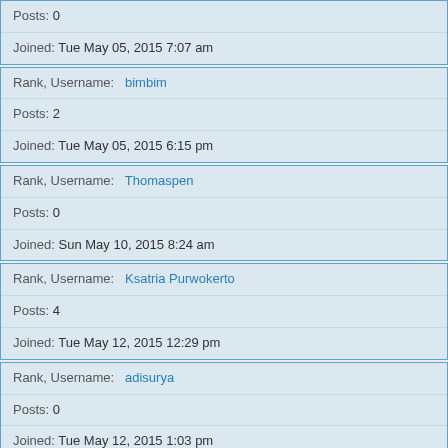Posts: 0
Joined: Tue May 05, 2015 7:07 am
Rank, Username: bimbim
Posts: 2
Joined: Tue May 05, 2015 6:15 pm
Rank, Username: Thomaspen
Posts: 0
Joined: Sun May 10, 2015 8:24 am
Rank, Username: Ksatria Purwokerto
Posts: 4
Joined: Tue May 12, 2015 12:29 pm
Rank, Username: adisurya
Posts: 0
Joined: Tue May 12, 2015 1:03 pm
3387 users  1 2 3 4 5 ... 136 >
Jump to
Home · Portal · Forum    Contact us    The team    Members